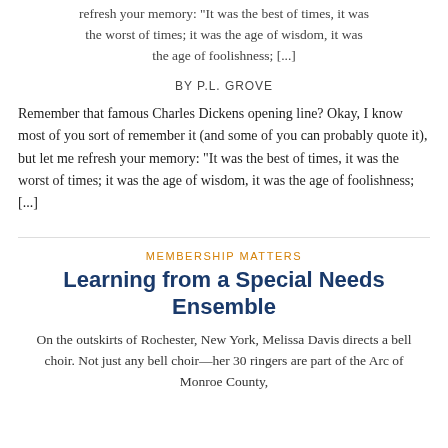refresh your memory: “It was the best of times, it was the worst of times; it was the age of wisdom, it was the age of foolishness; [...]
BY P.L. GROVE
Remember that famous Charles Dickens opening line? Okay, I know most of you sort of remember it (and some of you can probably quote it), but let me refresh your memory: “It was the best of times, it was the worst of times; it was the age of wisdom, it was the age of foolishness; [...]
MEMBERSHIP MATTERS
Learning from a Special Needs Ensemble
On the outskirts of Rochester, New York, Melissa Davis directs a bell choir. Not just any bell choir—her 30 ringers are part of the Arc of Monroe County,